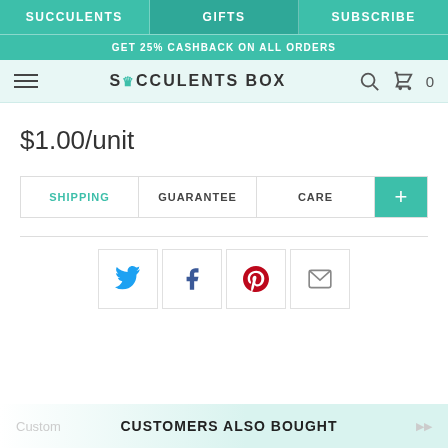SUCCULENTS | GIFTS | SUBSCRIBE
GET 25% CASHBACK ON ALL ORDERS
SUCCULENTS BOX
$1.00/unit
| SHIPPING | GUARANTEE | CARE | + |
| --- | --- | --- | --- |
[Figure (infographic): Social sharing icons: Twitter (blue bird), Facebook (blue f), Pinterest (red p), Email (envelope)]
CUSTOMERS ALSO BOUGHT